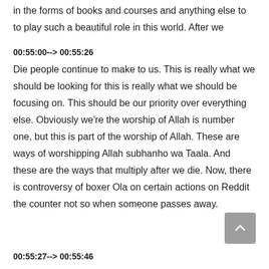in the forms of books and courses and anything else to to play such a beautiful role in this world. After we
00:55:00--> 00:55:26
Die people continue to make to us. This is really what we should be looking for this is really what we should be focusing on. This should be our priority over everything else. Obviously we're the worship of Allah is number one, but this is part of the worship of Allah. These are ways of worshipping Allah subhanho wa Taala. And these are the ways that multiply after we die. Now, there is controversy of boxer Ola on certain actions on Reddit the counter not so when someone passes away.
00:55:27--> 00:55:46